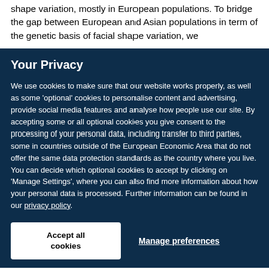shape variation, mostly in European populations. To bridge the gap between European and Asian populations in term of the genetic basis of facial shape variation, we
Your Privacy
We use cookies to make sure that our website works properly, as well as some 'optional' cookies to personalise content and advertising, provide social media features and analyse how people use our site. By accepting some or all optional cookies you give consent to the processing of your personal data, including transfer to third parties, some in countries outside of the European Economic Area that do not offer the same data protection standards as the country where you live. You can decide which optional cookies to accept by clicking on 'Manage Settings', where you can also find more information about how your personal data is processed. Further information can be found in our privacy policy.
Accept all cookies
Manage preferences